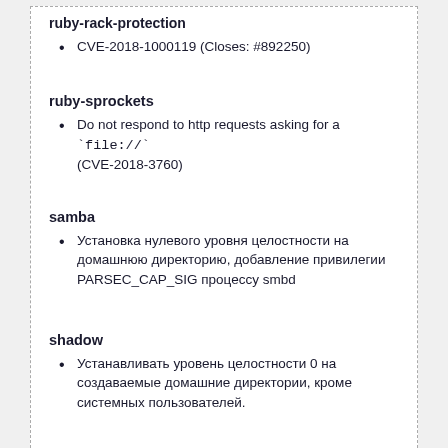ruby-rack-protection
CVE-2018-1000119 (Closes: #892250)
ruby-sprockets
Do not respond to http requests asking for a `file://` (CVE-2018-3760)
samba
Установка нулевого уровня целостности на домашнюю директорию, добавление привилегии PARSEC_CAP_SIG процессу smbd
shadow
Устанавливать уровень целостности 0 на создаваемые домашние директории, кроме системных пользователей.
smbnetfs